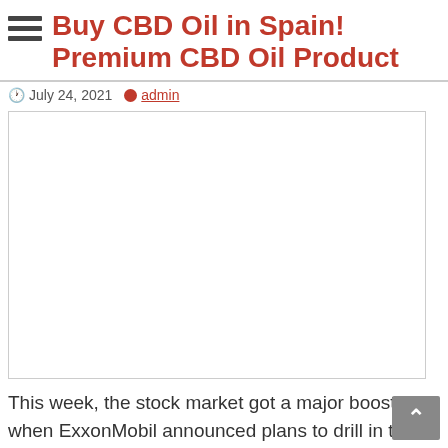Buy CBD Oil in Spain! Premium CBD Oil Product
July 24, 2021  admin
[Figure (photo): Large white/blank image placeholder area with light gray border]
This week, the stock market got a major boost when ExxonMobil announced plans to drill in the Marcellus Shale.
And we asked a few oil experts about what to trade.
Here are five ways you can trade oil stocks.